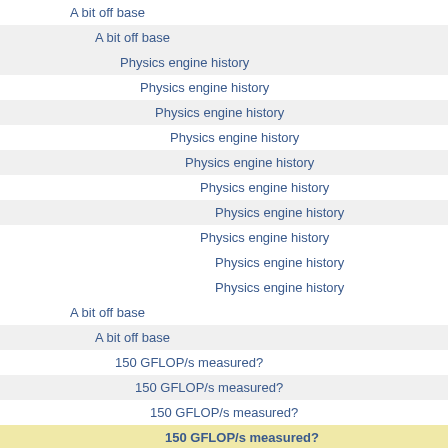A bit off base
A bit off base
Physics engine history
Physics engine history
Physics engine history
Physics engine history
Physics engine history
Physics engine history
Physics engine history
Physics engine history
Physics engine history
Physics engine history
A bit off base
A bit off base
150 GFLOP/s measured?
150 GFLOP/s measured?
150 GFLOP/s measured?
150 GFLOP/s measured?
150 GFLOP/s measured?
150 GFLOP/s measured?
150 GFLOP/s measured?
150 GFLOP/s measured?
150 GFLOP/s measured?